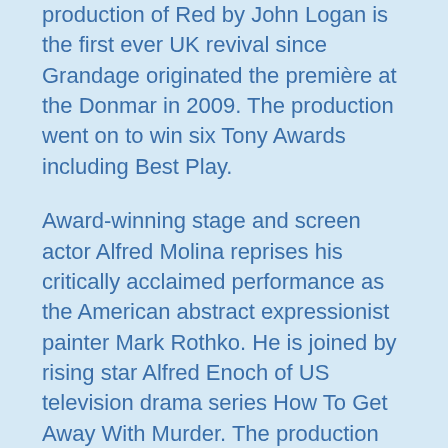production of Red by John Logan is the first ever UK revival since Grandage originated the première at the Donmar in 2009. The production went on to win six Tony Awards including Best Play.
Award-winning stage and screen actor Alfred Molina reprises his critically acclaimed performance as the American abstract expressionist painter Mark Rothko. He is joined by rising star Alfred Enoch of US television drama series How To Get Away With Murder. The production opens at the Wyndham's Theatre on 15 May, with previews from 4 May, and runs until 28 July.